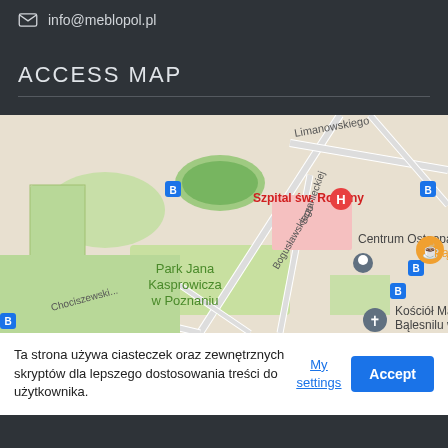info@meblopol.pl
ACCESS MAP
[Figure (map): Google Maps screenshot showing Park Jana Kasprowicza w Poznaniu area, with Szpital św. Rodziny (hospital marker), Centrum Osteopatii, Kościół Matki Boskiej, Bogusławskiego and Sczanieckiej streets, Limanowskiego street visible.]
Ta strona używa ciasteczek oraz zewnętrznych skryptów dla lepszego dostosowania treści do użytkownika.
My settings
Accept